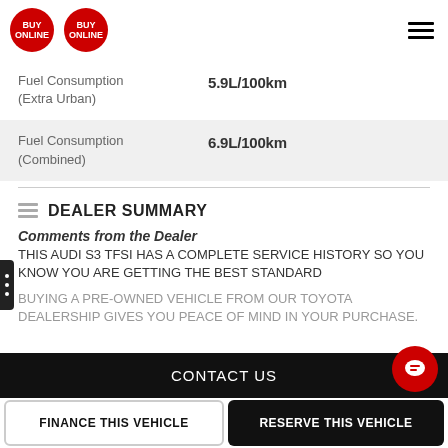BUY ONLINE BUY ONLINE
| Specification | Value |
| --- | --- |
| Fuel Consumption (Extra Urban) | 5.9L/100km |
| Fuel Consumption (Combined) | 6.9L/100km |
DEALER SUMMARY
Comments from the Dealer
THIS AUDI S3 TFSI HAS A COMPLETE SERVICE HISTORY SO YOU KNOW YOU ARE GETTING THE BEST STANDARD
BUYING A PRE-OWNED VEHICLE FROM OUR TOYOTA DEALERSHIP GIVES YOU PEACE OF MIND IN YOUR PURCHASE.
CONTACT US
FINANCE THIS VEHICLE
RESERVE THIS VEHICLE